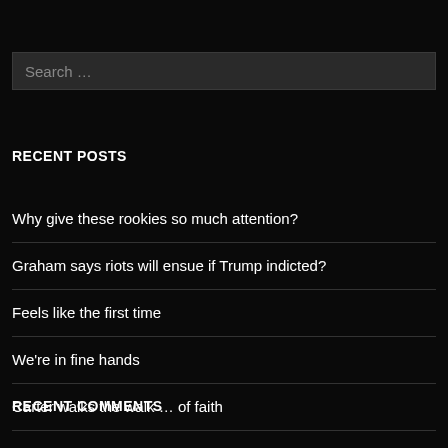Search …
RECENT POSTS
Why give these rookies so much attention?
Graham says riots will ensue if Trump indicted?
Feels like the first time
We're in fine hands
Carter walks the walk … of faith
RECENT COMMENTS